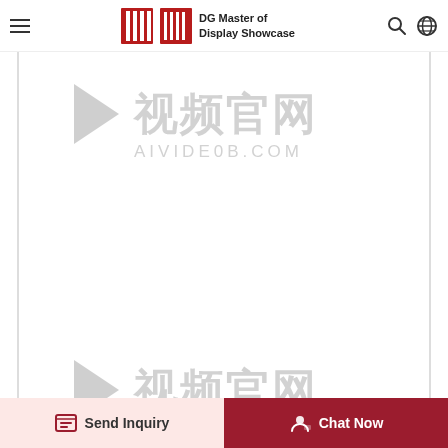DG Master of Display Showcase
[Figure (screenshot): Website screenshot showing a content area with two watermarked image placeholders bearing the AIVIDEOB.COM watermark in Chinese (视频官网) with a play button icon. The page has left and right border lines enclosing the content. At the bottom are two action buttons: 'Send Inquiry' on a light pink background and 'Chat Now' on a dark red background.]